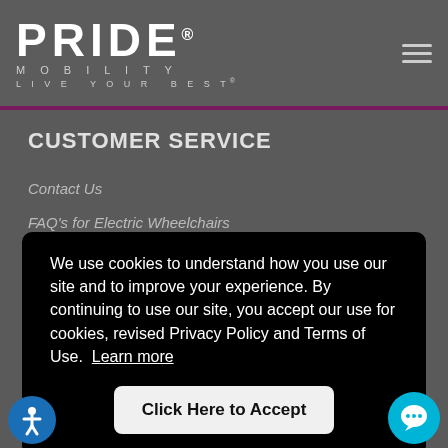[Figure (logo): Pride Mobility logo — PRIDE in large white bold letters with registered trademark, MOBILITY below in spaced caps, LIVE YOUR BEST tagline below that]
PRIDE® MOBILITY — LIVE YOUR BEST®
CUSTOMER SERVICE
Contact Us
FAQ's for Electric Wheelchairs
We use cookies to understand how you use our site and to improve your experience. By continuing to use our site, you accept our use for cookies, revised Privacy Policy and Terms of Use. Learn more
Click Here to Accept
EXPLORE OUR ARTICLES